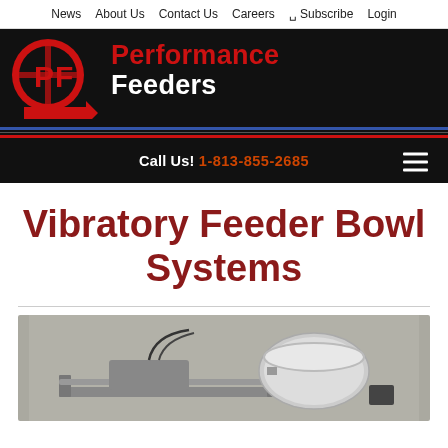News | About Us | Contact Us | Careers | Subscribe | Login
[Figure (logo): Performance Feeders logo — circular PF emblem in red on black background with company name 'Performance Feeders' in red and white bold text]
Call Us! 1-813-855-2685
Vibratory Feeder Bowl Systems
[Figure (photo): Photograph of a vibratory feeder bowl system — a metal machine with a cylindrical bowl/hopper mounted on a track mechanism, shown on gray background]